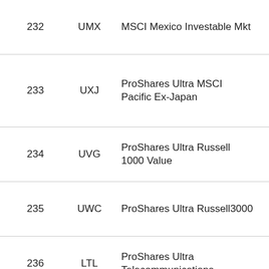| 232 | UMX | MSCI Mexico Investable Mkt | 22 |
| 233 | UXJ | ProShares Ultra MSCI Pacific Ex-Japan | 22 |
| 234 | UVG | ProShares Ultra Russell 1000 Value | 61 |
| 235 | UWC | ProShares Ultra Russell3000 | 32 |
| 236 | LTL | ProShares Ultra Telecommunications | 48 |